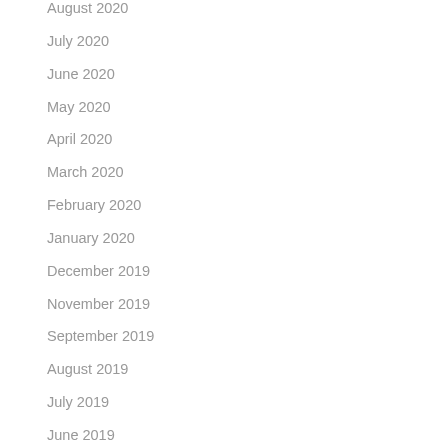August 2020
July 2020
June 2020
May 2020
April 2020
March 2020
February 2020
January 2020
December 2019
November 2019
September 2019
August 2019
July 2019
June 2019